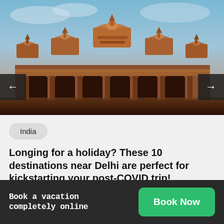[Figure (photo): Photograph of an ornate Indian temple (likely in the Delhi region) with intricate stone carvings, arched colonnades, and decorated domes against a blue sky. Navigation arrows (left and right) are overlaid on the image.]
India
Longing for a holiday? These 10 destinations near Delhi are perfect for kickstarting your post-COVID trip!
Akshaya Devi  June 26, 2020
Book a vacation completely online
Book Now